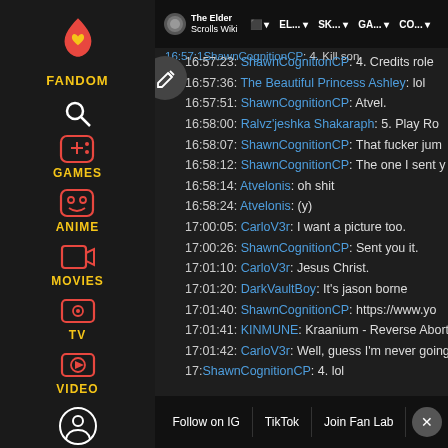[Figure (screenshot): Fandom wiki website screenshot showing The Elder Scrolls Wiki page with a chat log. Left sidebar has Fandom logo with navigation icons for Games, Anime, Movies, TV, Video. Top navigation bar shows The Elder Scrolls Wiki logo and nav links. Main area shows a timestamped chat log with usernames in blue. Bottom shows a cookie/notification bar with Follow on IG, TikTok, Join Fan Lab buttons.]